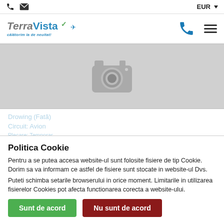EUR
[Figure (logo): TerraVista travel agency logo with plane icon and tagline]
[Figure (photo): Image placeholder with camera icon on grey background]
Politica Cookie
Pentru a se putea accesa website-ul sunt folosite fisiere de tip Cookie. Dorim sa va informam ce astfel de fisiere sunt stocate in website-ul Dvs.
Puteti schimba setarile browserului in orice moment. Limitarile in utilizarea fisierelor Cookies pot afecta functionarea corecta a website-ului.
Sunt de acord
Nu sunt de acord